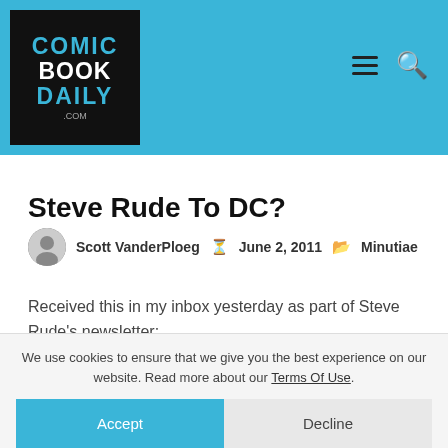Comic Book Daily
Steve Rude To DC?
Scott VanderPloeg  June 2, 2011  Minutiae
Received this in my inbox yesterday as part of Steve Rude's newsletter:
We use cookies to ensure that we give you the best experience on our website. Read more about our Terms Of Use.
Accept  Decline